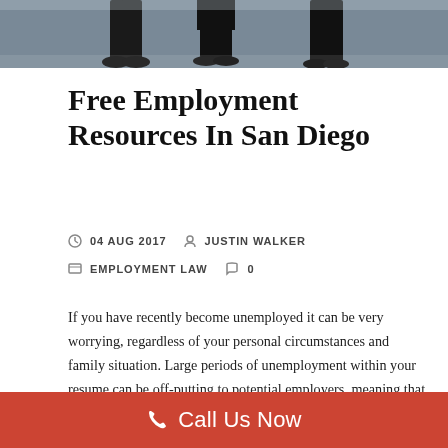[Figure (photo): Cropped photo showing legs and feet of people standing, likely in an office or professional setting, darkened background.]
Free Employment Resources In San Diego
04 AUG 2017   JUSTIN WALKER
EMPLOYMENT LAW   0
If you have recently become unemployed it can be very worrying, regardless of your personal circumstances and family situation. Large periods of unemployment within your resume can be off-putting to potential employers, meaning that a long gap between jobs may not only cause you significant financial hardship today, but also go on to have a lasting effect on your future career progression.
Call Us Now